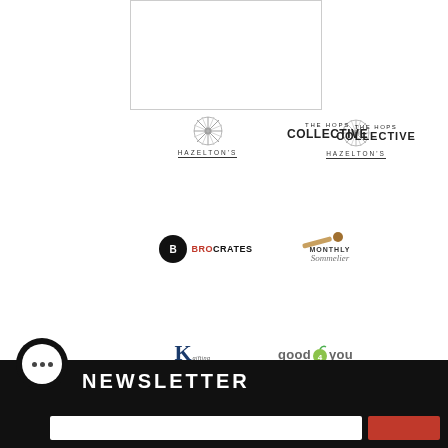Write a review
[Figure (logo): Hazelton's logo with decorative flower emblem above text HAZELTON'S with underline]
[Figure (logo): THE HOPS COLLECTIVE logo in bold sans-serif text]
[Figure (logo): BROCRATES logo with black circle icon and red/black text]
[Figure (logo): Monthly Sommelier logo with cork graphic and script text]
[Figure (logo): KG Gifting Kosher logo in navy blue]
[Figure (logo): good4you logo with green apple leaf]
NEWSLETTER